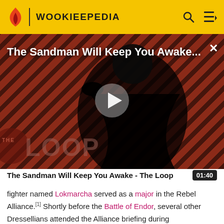WOOKIEEPEDIA
[Figure (screenshot): Video thumbnail for 'The Sandman Will Keep You Awake - The Loop' showing a dark-clad figure against diagonal striped background. THE LOOP watermark visible. Play button overlay.]
The Sandman Will Keep You Awake - The Loop 01:40
fighter named Lokmarcha served as a major in the Rebel Alliance.[1] Shortly before the Battle of Endor, several other Dressellians attended the Alliance briefing during